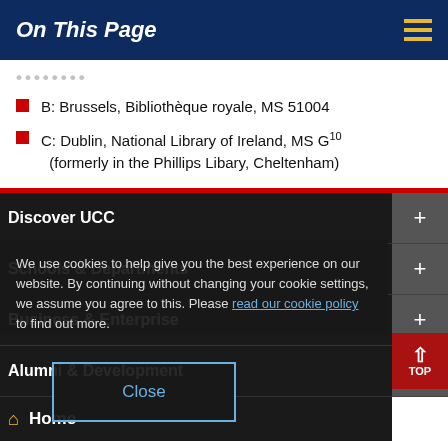On This Page
B: Brussels, Bibliothèque royale, MS 51004
C: Dublin, National Library of Ireland, MS G10 (formerly in the Phillips Libary, Cheltenham)
Discover UCC
Schools & Departments
Business & Enterprise
Alumni & Development
We use cookies to help give you the best experience on our website. By continuing without changing your cookie settings, we assume you agree to this. Please read our cookie policy to find out more.
Close
Home